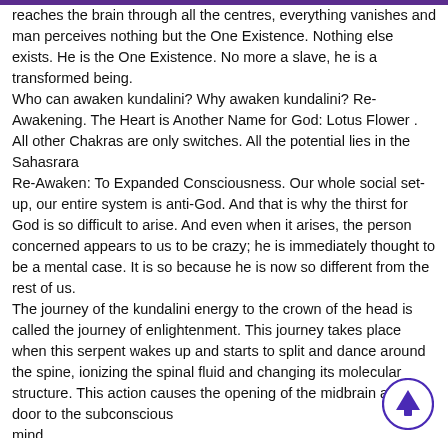reaches the brain through all the centres, everything vanishes and man perceives nothing but the One Existence. Nothing else exists. He is the One Existence. No more a slave, he is a transformed being. Who can awaken kundalini? Why awaken kundalini? Re-Awakening. The Heart is Another Name for God: Lotus Flower . All other Chakras are only switches. All the potential lies in the Sahasrara Re-Awaken: To Expanded Consciousness. Our whole social set-up, our entire system is anti-God. And that is why the thirst for God is so difficult to arise. And even when it arises, the person concerned appears to us to be crazy; he is immediately thought to be a mental case. It is so because he is now so different from the rest of us. The journey of the kundalini energy to the crown of the head is called the journey of enlightenment. This journey takes place when this serpent wakes up and starts to split and dance around the spine, ionizing the spinal fluid and changing its molecular structure. This action causes the opening of the midbrain and the door to the subconscious mind
[Figure (other): A circular scroll-to-top button with a purple upward arrow, positioned at bottom right of page.]